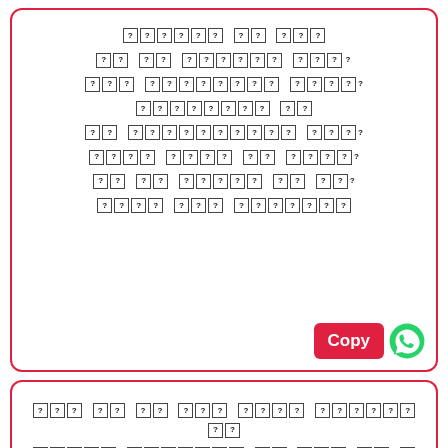[Figure (other): Card with encoded/corrupted text lines (question mark boxes) and a Copy WhatsApp button at bottom right]
[Figure (other): Second card with encoded/corrupted text lines and a scroll-to-top button]